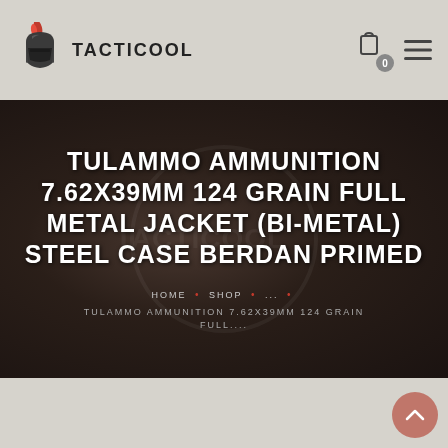TACTICOOL
TULAMMO AMMUNITION 7.62X39MM 124 GRAIN FULL METAL JACKET (BI-METAL) STEEL CASE BERDAN PRIMED
HOME • SHOP • ... • TULAMMO AMMUNITION 7.62X39MM 124 GRAIN FULL....